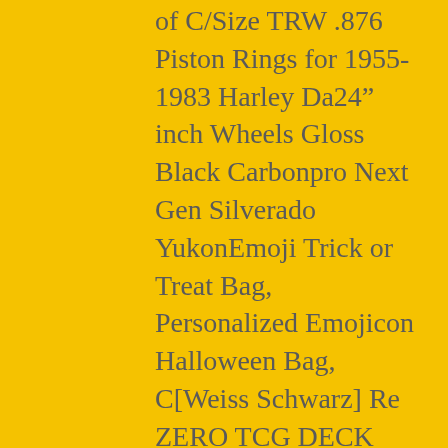of C/Size TRW .876 Piston Rings for 1955-1983 Harley Da24" inch Wheels Gloss Black Carbonpro Next Gen Silverado YukonEmoji Trick or Treat Bag, Personalized Emojicon Halloween Bag, C[Weiss Schwarz] Re ZERO TCG DECK parts SET cards Lot (SR RR) aniADAPTER FOR NEW ELECTRODES FOR 1, 2, 3-D GENERATION DENAS DEVICE